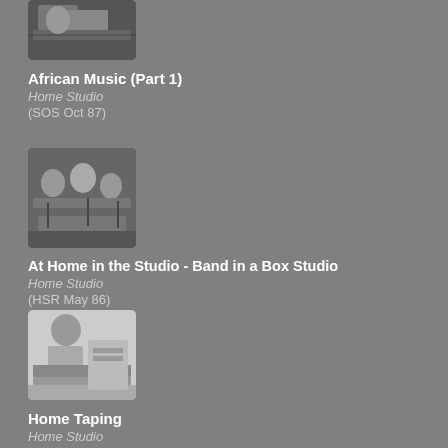[Figure (photo): Black and white photo, partially visible at top, person at a desk or workspace]
African Music (Part 1)
Home Studio
(SOS Oct 87)
[Figure (photo): Black and white photo of a band or group of people in a recording studio with equipment]
At Home in the Studio - Band in a Box Studio
Home Studio
(HSR May 86)
[Figure (photo): Black and white photo of a person sitting at a piano or keyboard]
Home Taping
Home Studio
(IM May 86)